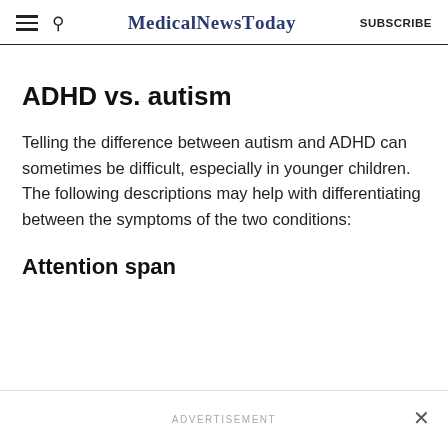MedicalNewsToday  SUBSCRIBE
ADHD vs. autism
Telling the difference between autism and ADHD can sometimes be difficult, especially in younger children. The following descriptions may help with differentiating between the symptoms of the two conditions:
Attention span
ADVERTISEMENT